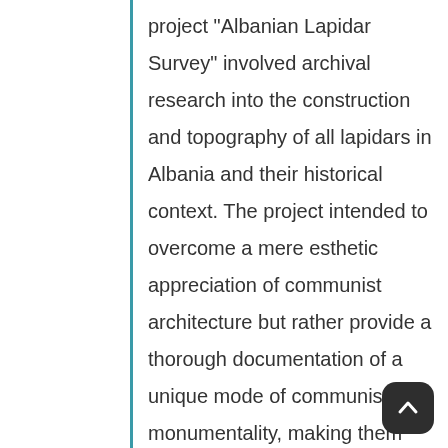project "Albanian Lapidar Survey" involved archival research into the construction and topography of all lapidars in Albania and their historical context. The project intended to overcome a mere esthetic appreciation of communist architecture but rather provide a thorough documentation of a unique mode of communist monumentality, making them accessible as possible for future research through an online database and open access publication. Mazzi was photographer in residence for the "Albanian Lapidar Survey" project and photographed over six hundred communist monuments and